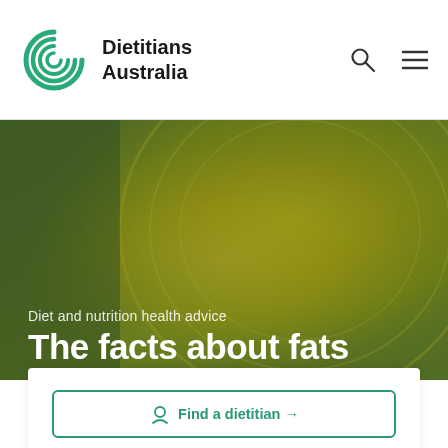[Figure (logo): Dietitians Australia logo — circular green spiral 'd' icon with text 'Dietitians Australia']
Dietitians Australia
[Figure (photo): Close-up photo of yellow-green olive oil or cooking oil in a glass container, used as hero background image]
Diet and nutrition health advice
The facts about fats
Find a dietitian →